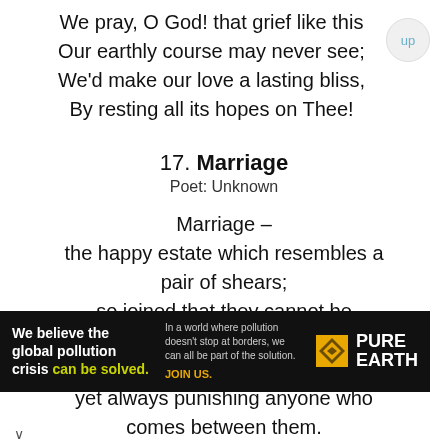We pray, O God! that grief like this
Our earthly course may never see;
We'd make our love a lasting bliss,
By resting all its hopes on Thee!
17. Marriage
Poet: Unknown
Marriage –
the happy estate which resembles a pair of shears;
so joined that they cannot be separated;
often moving in apposite directions,
yet always punishing anyone who comes between them.
[Figure (other): Pure Earth advertisement banner: 'We believe the global pollution crisis can be solved.' with logo and JOIN US call to action.]